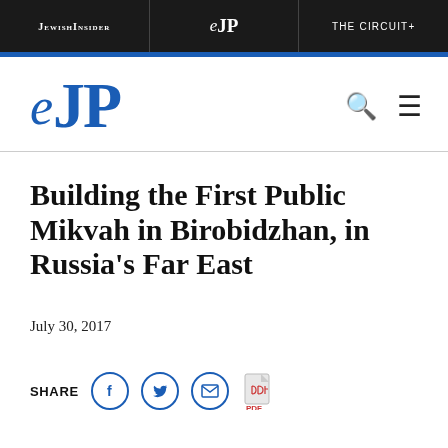JEWISHINSIDER | eJP | THE CIRCUIT+
[Figure (logo): eJP logo in blue with search and hamburger menu icons]
Building the First Public Mikvah in Birobidzhan, in Russia's Far East
July 30, 2017
SHARE [Facebook] [Twitter] [Email] [PDF]